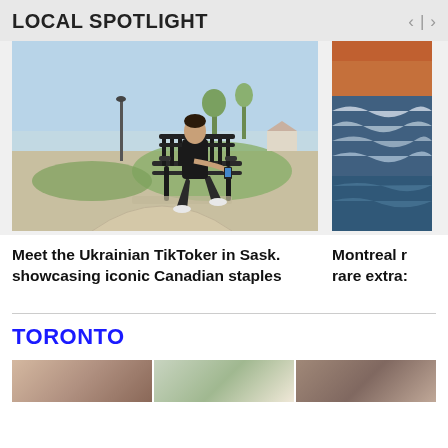LOCAL SPOTLIGHT
[Figure (photo): Person sitting on a park bench looking at their phone, park setting with trees and grass in the background]
[Figure (photo): Stormy ocean waves with an orange/red sky, partially visible on the right edge]
Meet the Ukrainian TikToker in Sask. showcasing iconic Canadian staples
Montreal r
rare extra:
TORONTO
[Figure (photo): Three partially visible photos at the bottom of the page, cropped]